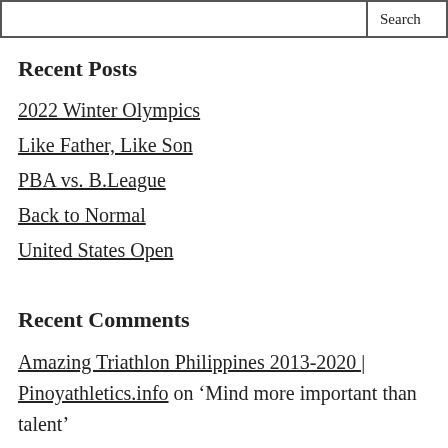Recent Posts
2022 Winter Olympics
Like Father, Like Son
PBA vs. B.League
Back to Normal
United States Open
Recent Comments
Amazing Triathlon Philippines 2013-2020 | Pinoyathletics.info on ‘Mind more important than talent’